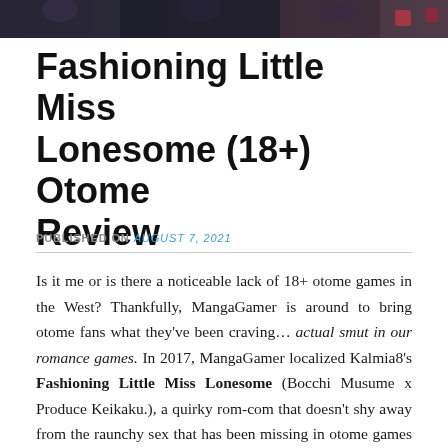[Figure (photo): Partial view of a manga/game promotional image at the top of the page, showing illustrated characters in a dark banner]
Fashioning Little Miss Lonesome (18+) Otome Review
PUBLISHED ON August 7, 2021
Is it me or is there a noticeable lack of 18+ otome games in the West? Thankfully, MangaGamer is around to bring otome fans what they've been craving… actual smut in our romance games. In 2017, MangaGamer localized Kalmia8's Fashioning Little Miss Lonesome (Bocchi Musume x Produce Keikaku.), a quirky rom-com that doesn't shy away from the raunchy sex that has been missing in otome games—at least the ones that make their way stateside.